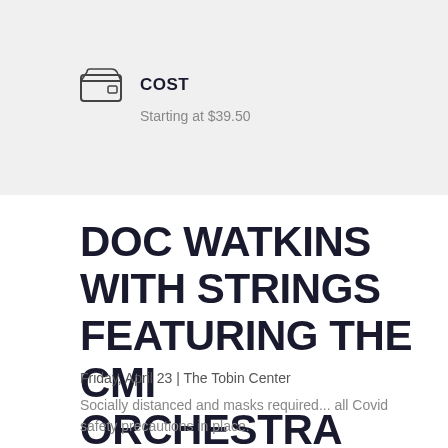COST
Starting at $39.50
DOC WATKINS WITH STRINGS FEATURING THE CMI ORCHESTRA
Friday, April 23 | The Tobin Center
Socially distanced and masks required... all Covid safety precautions in place.